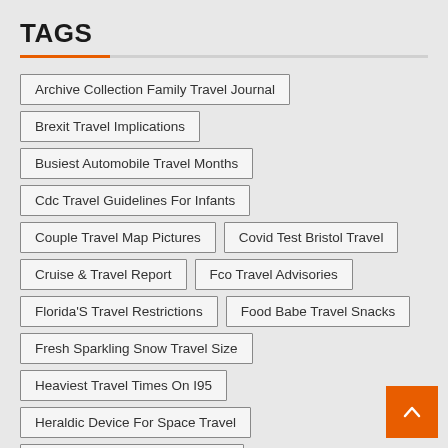TAGS
Archive Collection Family Travel Journal
Brexit Travel Implications
Busiest Automobile Travel Months
Cdc Travel Guidelines For Infants
Couple Travel Map Pictures
Covid Test Bristol Travel
Cruise & Travel Report
Fco Travel Advisories
Florida'S Travel Restrictions
Food Babe Travel Snacks
Fresh Sparkling Snow Travel Size
Heaviest Travel Times On I95
Heraldic Device For Space Travel
How Do Invasice Species Travel